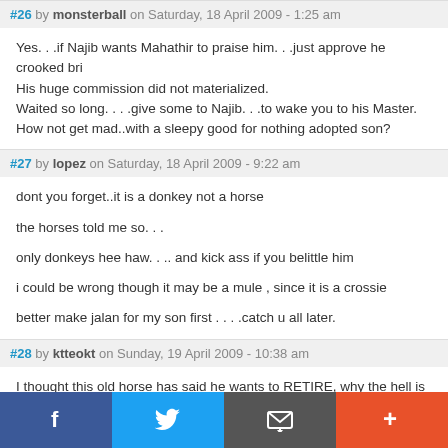#26 by monsterball on Saturday, 18 April 2009 - 1:25 am
Yes. . .if Najib wants Mahathir to praise him. . .just approve he crooked bri[dge]
His huge commission did not materialized.
Waited so long. . . .give some to Najib. . .to wake you to his Master.
How not get mad..with a sleepy good for nothing adopted son?
#27 by lopez on Saturday, 18 April 2009 - 9:22 am
dont you forget..it is a donkey not a horse

the horses told me so. . .

only donkeys hee haw. . .. and kick ass if you belittle him

i could be wrong though it may be a mule , since it is a crossie

better make jalan for my son first . . . .catch u all later.
#28 by ktteokt on Sunday, 19 April 2009 - 10:38 am
I thought this old horse has said he wants to RETIRE, why the hell is he sti[ll]